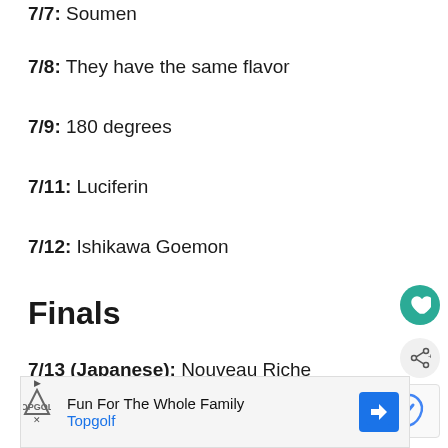7/7: Soumen
7/8: They have the same flavor
7/9: 180 degrees
7/11: Luciferin
7/12: Ishikawa Goemon
Finals
7/13 (Japanese): Nouveau Riche
[Figure (other): Advertisement banner for Topgolf: Fun For The Whole Family]